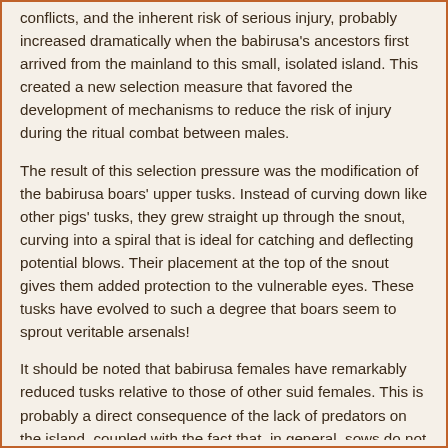conflicts, and the inherent risk of serious injury, probably increased dramatically when the babirusa's ancestors first arrived from the mainland to this small, isolated island. This created a new selection measure that favored the development of mechanisms to reduce the risk of injury during the ritual combat between males.
The result of this selection pressure was the modification of the babirusa boars' upper tusks. Instead of curving down like other pigs' tusks, they grew straight up through the snout, curving into a spiral that is ideal for catching and deflecting potential blows. Their placement at the top of the snout gives them added protection to the vulnerable eyes. These tusks have evolved to such a degree that boars seem to sprout veritable arsenals!
It should be noted that babirusa females have remarkably reduced tusks relative to those of other suid females. This is probably a direct consequence of the lack of predators on the island, coupled with the fact that, in general, sows do not compete with each other in the way that boars do.